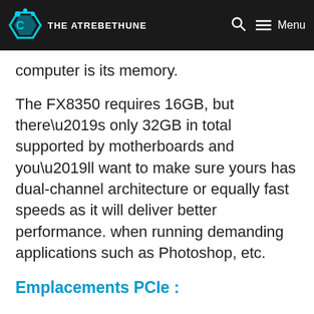THE ATREBETHUNE | Search | Menu
computer is its memory.
The FX8350 requires 16GB, but there’s only 32GB in total supported by motherboards and you’ll want to make sure yours has dual-channel architecture or equally fast speeds as it will deliver better performance. when running demanding applications such as Photoshop, etc.
Emplacements PCIe :
When considering buying a new motherboard, one of the first things to consider is whether or not they have